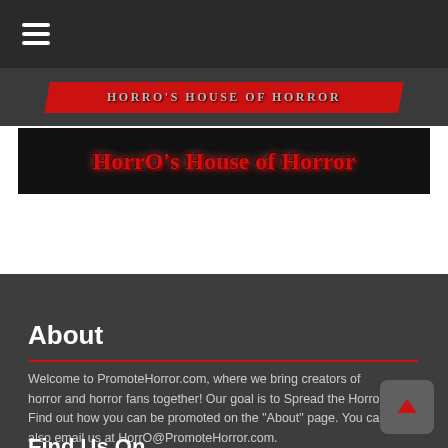[Figure (screenshot): Navigation hamburger menu icon (three horizontal lines) on dark background]
[Figure (screenshot): Red banner strip with text HORRO'S HOUSE OF HORROR in gray letters on red skewed background]
[Figure (logo): HorrO's House of Horror logo in red horror-style font on black background]
About
Welcome to PromoteHorror.com, where we bring creators of horror and horror fans together! Our goal is to Spread the Horror! Find out how you can be promoted on the "About" page. You can also email us at HorrO@PromoteHorror.com.
Find Us On